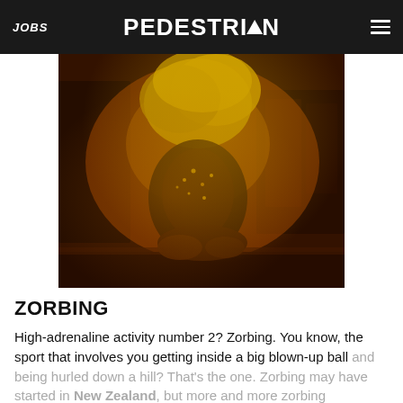JOBS | PEDESTRIAN | [menu]
[Figure (photo): A performer with voluminous golden hair on stage, wearing a sequined outfit, kneeling/crouching on a dark stage with concert equipment visible in the background. Warm amber and dark brown tones.]
ZORBING
High-adrenaline activity number 2? Zorbing. You know, the sport that involves you getting inside a big blown-up ball and being hurled down a hill? That's the one. Zorbing may have started in New Zealand, but more and more zorbing